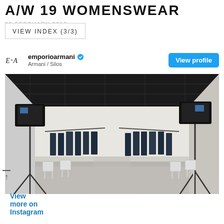A/W 19 WOMENSWEAR
22 FEBRUARY 2019
VIEW INDEX (3/3)
emporioarmani  Armani / Silos
View profile
[Figure (photo): Interior of Armani / Silos showroom with clothing racks displaying dark navy garments, white chairs, reflective floor, and professional lighting rigs on stands.]
View more on Instagram